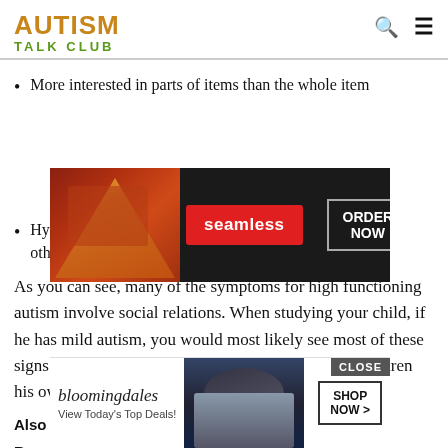AUTISM TALK CLUB
More interested in parts of items than the whole item
[Figure (other): Seamless food delivery advertisement banner with pizza image and ORDER NOW button]
Hyp... and other stimuli
As you can see, many of the symptoms for high functioning autism involve social relations. When studying your child, if he has mild autism, you would most likely see most of these signs while he is in a social situation playing with children his own age.
Also Check: Can A Child Outgrow Autism
Recommended Reading: Autism And Mental ... lation Como...
[Figure (other): Bloomingdale's advertisement banner with hat model and SHOP NOW button]